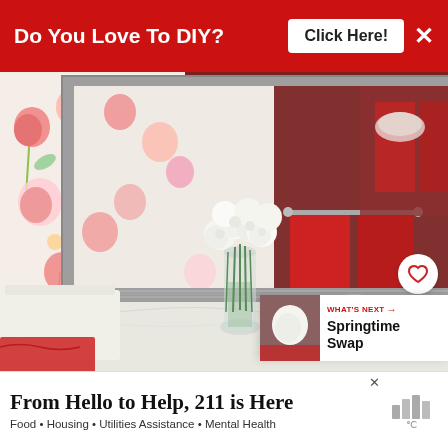[Figure (infographic): Red banner advertisement at top: 'Do You Love To DIY?' with white 'Click Here!' button and X close button]
[Figure (photo): Bathroom interior with floral shower curtain (pink/coral roses on white), gray-framed mirror, white roses in glass vase on marble countertop, white toilet, red hanging towels, silver faucet, soap dish, red hand towel, and red/white bowl visible in mirror reflection.]
[Figure (infographic): WHAT'S NEXT panel with thumbnail image and text 'Springtime Swap']
[Figure (infographic): Bottom advertisement: 'From Hello to Help, 211 is Here' with subtitle 'Food • Housing • Utilities Assistance • Mental Health']